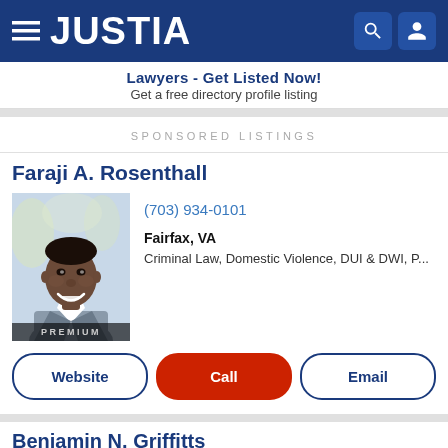JUSTIA
Lawyers - Get Listed Now! Get a free directory profile listing
SPONSORED LISTINGS
Faraji A. Rosenthall
[Figure (photo): Professional headshot of attorney Faraji A. Rosenthall wearing a gray suit, smiling, with a PREMIUM badge overlay at the bottom.]
(703) 934-0101
Fairfax, VA
Criminal Law, Domestic Violence, DUI & DWI, P...
Website  Call  Email
Benjamin N. Griffitts
[Figure (photo): Partial headshot of attorney Benjamin N. Griffitts, partially cut off at bottom of page.]